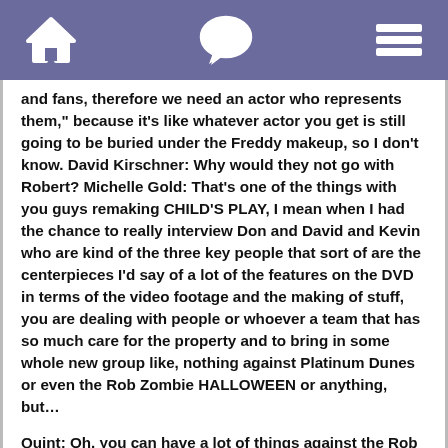[Home icon] [Chat icon] [Menu icon]
and fans, therefore we need an actor who represents them," because it's like whatever actor you get is still going to be buried under the Freddy makeup, so I don't know. David Kirschner: Why would they not go with Robert? Michelle Gold: That's one of the things with you guys remaking CHILD'S PLAY, I mean when I had the chance to really interview Don and David and Kevin who are kind of the three key people that sort of are the centerpieces I'd say of a lot of the features on the DVD in terms of the video footage and the making of stuff, you are dealing with people or whoever a team that has so much care for the property and to bring in some whole new group like, nothing against Platinum Dunes or even the Rob Zombie HALLOWEEN or anything, but...
Quint: Oh. you can have a lot of things against the Rob Zombie HALLOWEEN.